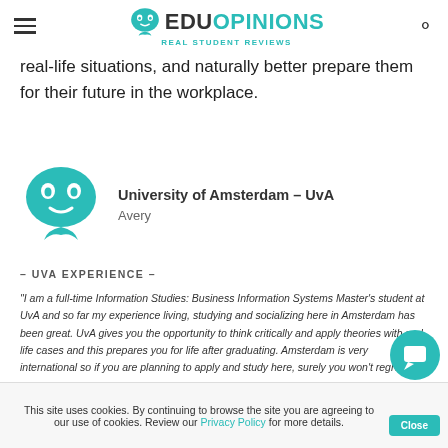EduOpinions – Real Student Reviews
real-life situations, and naturally better prepare them for their future in the workplace.
[Figure (logo): EduOpinions reviewer avatar – teal speech bubble with quotation mark icon showing 6.9]
University of Amsterdam – UvA
Avery
– UVA EXPERIENCE –
"I am a full-time Information Studies: Business Information Systems Master's student at UvA and so far my experience living, studying and socializing here in Amsterdam has been great. UvA gives you the opportunity to think critically and apply theories with real-life cases and this prepares you for life after graduating. Amsterdam is very international so if you are planning to apply and study here, surely you won't regret it."
This site uses cookies. By continuing to browse the site you are agreeing to our use of cookies. Review our Privacy Policy for more details.